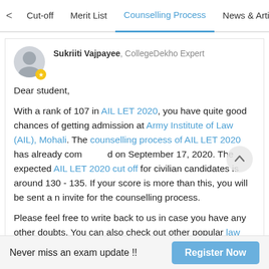< Cut-off  Merit List  Counselling Process  News & Arti >
Sukriti Vajpayee, CollegeDekho Expert

Dear student,

With a rank of 107 in AIL LET 2020, you have quite good chances of getting admission at Army Institute of Law (AIL), Mohali. The counselling process of AIL LET 2020 has already commenced on September 17, 2020. The expected AIL LET 2020 cut off for civilian candidates is around 130 - 135. If your score is more than this, you will be sent an invite for the counselling process.

Please feel free to write back to us in case you have any other doubts. You can also check out other popular law colleges in Punjab ...
Never miss an exam update !!  Register Now